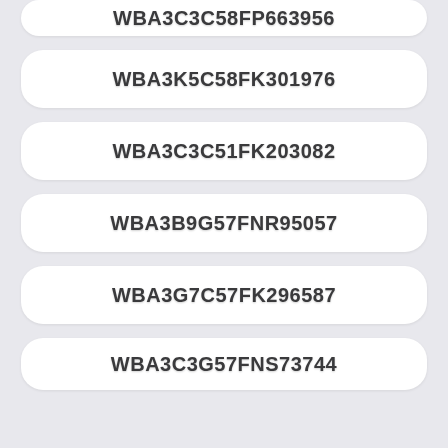WBA3C3C58FP663956
WBA3K5C58FK301976
WBA3C3C51FK203082
WBA3B9G57FNR95057
WBA3G7C57FK296587
WBA3C3G57FNS73744